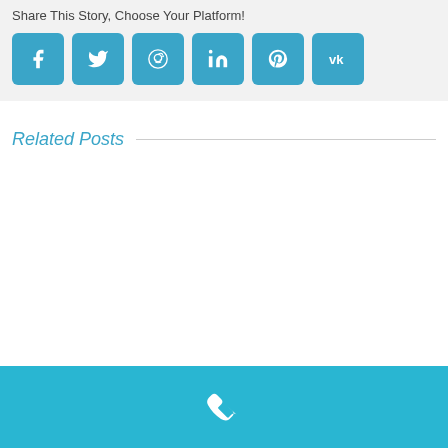Share This Story, Choose Your Platform!
[Figure (infographic): Six social media share buttons: Facebook, Twitter, Reddit, LinkedIn, Pinterest, VK — each as a rounded square with a white icon on a teal/blue background.]
Related Posts
[Figure (infographic): White phone/call icon centered on a teal footer bar at the bottom of the page.]